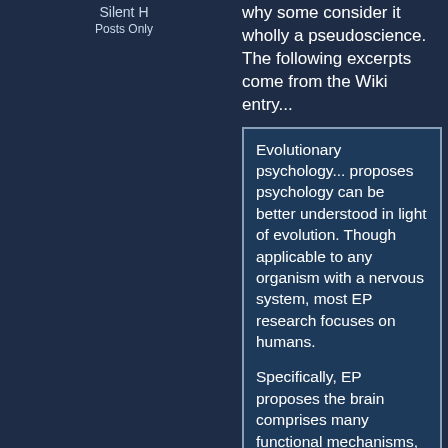Silent H
Posts Only
why some consider it wholly a pseudoscience. The following excerpts come from the Wiki entry...
Evolutionary psychology... proposes psychology can be better understood in light of evolution. Though applicable to any organism with a nervous system, most EP research focuses on humans.

Specifically, EP proposes the brain comprises many functional mechanisms, called psychological adaptations or evolved psychological mechanisms (EPMs), that evolved by natural selection. Uncontroversial examples of EPMs include vision, hearing, memory, and motor control. More controversial examples include incest avoidance mechanisms, cheater detection mechanisms, and sex-specific mating preferences, mating strategies, and spatial cognition. Most evolutionary psychologists argue that EPMs are universal in a species, excepting those